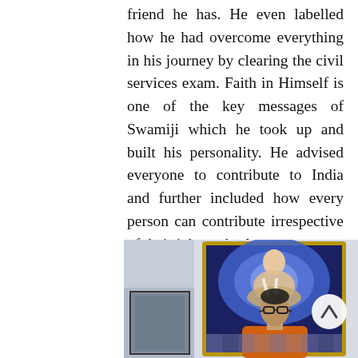friend he has. He even labelled how he had overcome everything in his journey by clearing the civil services exam. Faith in Himself is one of the key messages of Swamiji which he took up and built his personality. He advised everyone to contribute to India and further included how every person can contribute irrespective of their jobs and roles.
[Figure (photo): A man wearing glasses and an orange garment stands in front of a large framed illuminated portrait of a spiritual figure seated in a meditative pose. A smaller framed photo is visible to the lower left. A circular scroll-up button with a caret/chevron arrow is visible on the right side of the image.]